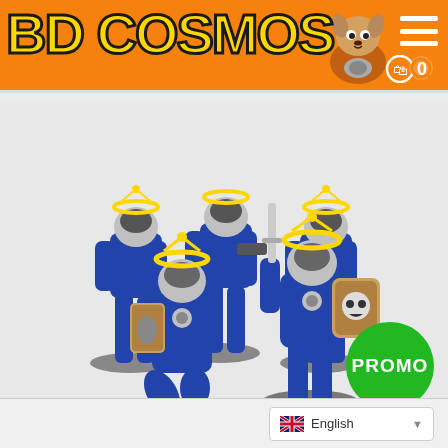BD COSMOS
[Figure (photo): Five painted Warhammer 40K Space Marines miniatures in blue and gold armor, posed on rocky bases, displayed against a light grey background. A green circular badge with 'PROMO' text is overlaid in the bottom right corner.]
SPACE MARINES: HONOURED OF THE CHAPTER
Sold Out
English